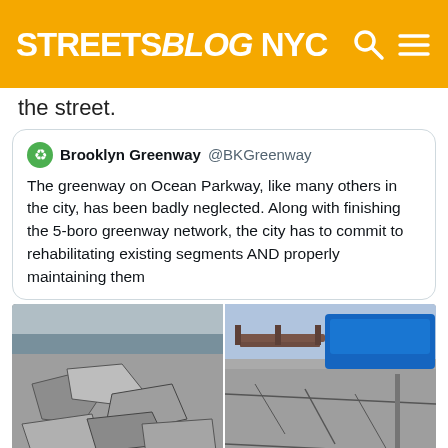STREETSBLOG NYC
the street.
Brooklyn Greenway @BKGreenway
The greenway on Ocean Parkway, like many others in the city, has been badly neglected. Along with finishing the 5-boro greenway network, the city has to commit to rehabilitating existing segments AND properly maintaining them
[Figure (photo): Two side-by-side photos of severely cracked and deteriorated pavement on a greenway path. Left photo shows broken, heaved concrete slabs. Right photo shows a cracked pathway with a bench and parked vehicles in the background.]